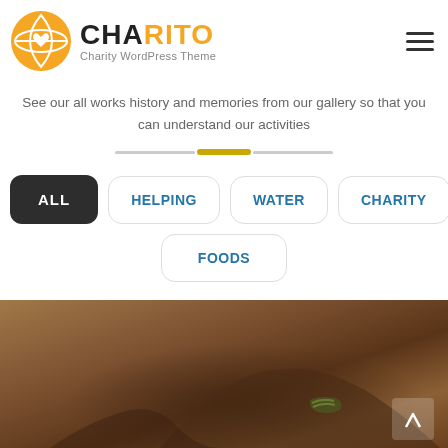[Figure (logo): Charito charity WordPress theme logo with orange globe/heart icon and text 'CHARITO Charity WordPress Theme']
See our all works history and memories from our gallery so that you can understand our activities
[Figure (other): Decorative horizontal divider with gray lines and gold/amber accent bar in center]
ALL
HELPING
WATER
CHARITY
FOODS
[Figure (photo): Close-up photo of dark-skinned hands with green bead bracelet, resting on sandy/dusty surface]